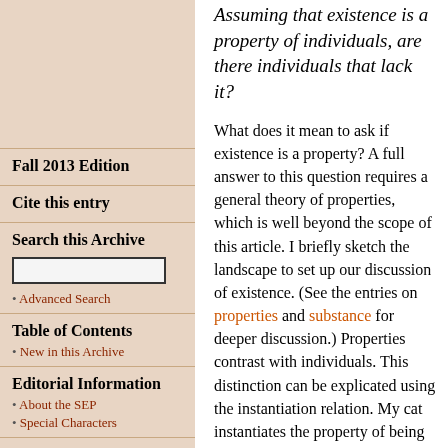Fall 2013 Edition
Cite this entry
Search this Archive
Advanced Search
Table of Contents
New in this Archive
Editorial Information
About the SEP
Special Characters
© Metaphysics Research Lab, CSLI, Stanford University
Assuming that existence is a property of individuals, are there individuals that lack it?
What does it mean to ask if existence is a property? A full answer to this question requires a general theory of properties, which is well beyond the scope of this article. I briefly sketch the landscape to set up our discussion of existence. (See the entries on properties and substance for deeper discussion.) Properties contrast with individuals. This distinction can be explicated using the instantiation relation. My cat instantiates the property of being hungry, as that is a way